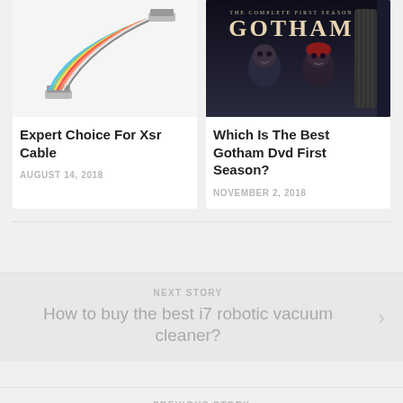[Figure (photo): Product photo of XSR cable connector with colorful wires on white background]
[Figure (photo): Gotham DVD First Season cover with two characters and dark background]
Expert Choice For Xsr Cable
AUGUST 14, 2018
Which Is The Best Gotham Dvd First Season?
NOVEMBER 2, 2018
NEXT STORY
How to buy the best i7 robotic vacuum cleaner?
PREVIOUS STORY